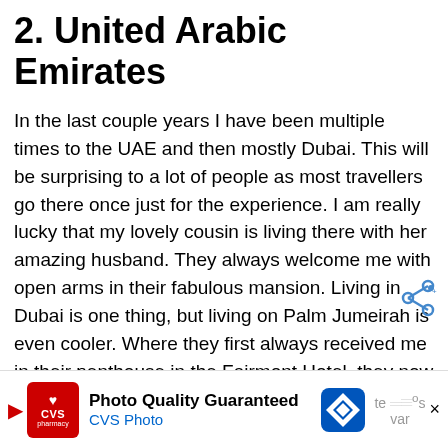2. United Arabic Emirates
In the last couple years I have been multiple times to the UAE and then mostly Dubai. This will be surprising to a lot of people as most travellers go there once just for the experience. I am really lucky that my lovely cousin is living there with her amazing husband. They always welcome me with open arms in their fabulous mansion. Living in Dubai is one thing, but living on Palm Jumeirah is even cooler. Where they first always received me in their penthouse in the Fairmont Hotel, they now moved to a villa on one of the most exclusive Fronds. Enjoying a bonfire on the beach in the evening overlooking the majestic skyline of the Dubai Marina is priceless. Everytime I go I am super thankful to be there and to hang out with them. Whether we kayak around Palm
[Figure (other): CVS Photo advertisement banner with logo, 'Photo Quality Guaranteed' text and navigation icon]